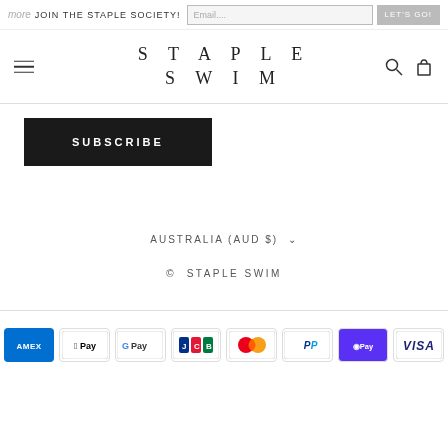more JOIN THE STAPLE SOCIETY! Email.... LET'S GO!
[Figure (logo): Staple Swim logo with hamburger menu, search and cart icons]
SUBSCRIBE
AUSTRALIA (AUD $) ∨
© STAPLE SWIM
[Figure (other): Payment method icons: American Express, Apple Pay, Google Pay, JCB, Mastercard, PayPal, Shop Pay, Visa]